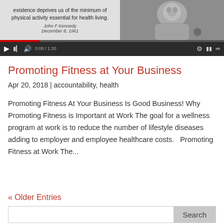[Figure (screenshot): Embedded video player showing a quote about physical activity attributed to John F. Kennedy, December 8, 1961, with a black-and-white photo of JFK and video playback controls including a red progress bar showing 0:08 of 1:30.]
Promoting Fitness at Your Business
Apr 20, 2018  |  accountability, health
Promoting Fitness At Your Business Is Good Business! Why Promoting Fitness is Important at Work The goal for a wellness program at work is to reduce the number of lifestyle diseases adding to employer and employee healthcare costs.   Promoting Fitness at Work The...
« Older Entries